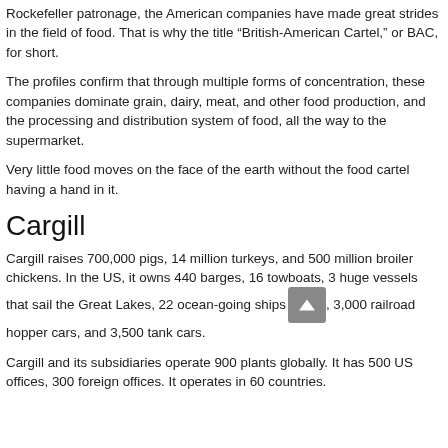Rockefeller patronage, the American companies have made great strides in the field of food. That is why the title “British-American Cartel,” or BAC, for short.
The profiles confirm that through multiple forms of concentration, these companies dominate grain, dairy, meat, and other food production, and the processing and distribution system of food, all the way to the supermarket.
Very little food moves on the face of the earth without the food cartel having a hand in it.
Cargill
Cargill raises 700,000 pigs, 14 million turkeys, and 500 million broiler chickens. In the US, it owns 440 barges, 16 towboats, 3 huge vessels that sail the Great Lakes, 22 ocean-going ships, 3,000 railroad hopper cars, and 3,500 tank cars.
Cargill and its subsidiaries operate 900 plants globally. It has 500 US offices, 300 foreign offices. It operates in 60 countries.